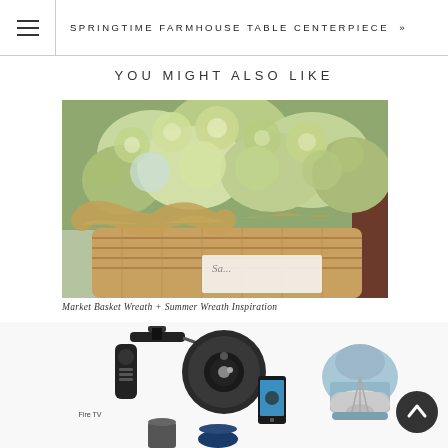SPRINGTIME FARMHOUSE TABLE CENTERPIECE »
YOU MIGHT ALSO LIKE
[Figure (photo): A wicker market basket wrapped in burlap bow filled with green hydrangeas, with a white label partially visible at the bottom reading 'Sa...']
Market Basket Wreath + Summer Wreath Inspiration
[Figure (photo): A product collage strip showing: Amazon Fire TV Stick (left), iRobot Roomba robot vacuum with smartphone (center), KitchenAid stand mixer in light blue (right), and partially visible smart home devices at bottom]